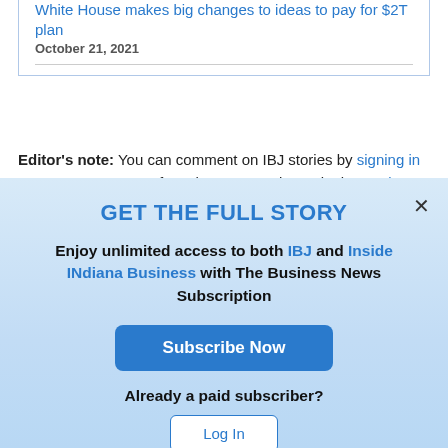White House makes big changes to ideas to pay for $2T plan
October 21, 2021
Editor's note: You can comment on IBJ stories by signing in to your IBJ account. If you have not registered, please sign up for a free account now. Please note our updated comment policy that will govern how comments are
GET THE FULL STORY
Enjoy unlimited access to both IBJ and Inside INdiana Business with The Business News Subscription
Subscribe Now
Already a paid subscriber?
Log In